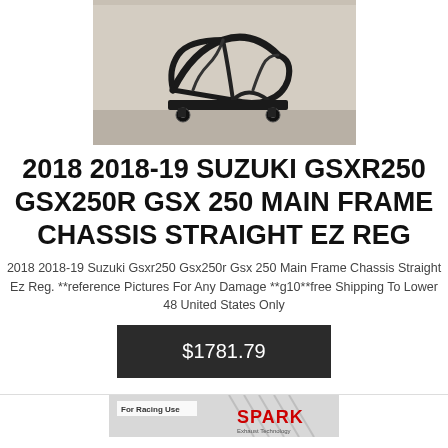[Figure (photo): Motorcycle main frame chassis on a rolling stand, positioned indoors on a wood floor against a light wall. The frame is black/dark metal with no bodywork attached.]
2018 2018-19 SUZUKI GSXR250 GSX250R GSX 250 MAIN FRAME CHASSIS STRAIGHT EZ REG
2018 2018-19 Suzuki Gsxr250 Gsx250r Gsx 250 Main Frame Chassis Straight Ez Reg. **reference Pictures For Any Damage **g10**free Shipping To Lower 48 United States Only
$1781.79
[Figure (photo): Partial view of a Spark exhaust product box with 'For Racing Use' text and the Spark brand logo visible at the bottom of the page.]